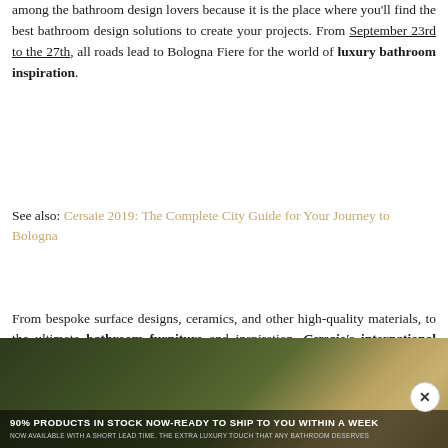among the bathroom design lovers because it is the place where you'll find the best bathroom design solutions to create your projects. From September 23rd to the 27th, all roads lead to Bologna Fiere for the world of luxury bathroom inspiration.
See also: Cersaie 2019: The Complete City Guide for Your Journey to Bologna
From bespoke surface designs, ceramics, and other high-quality materials, to the ultimate bathroom furniture and inspiration, Cersaie's international event is everything you need to get you started on your trendy bathroom decor.
[Figure (photo): Bathroom photo with greenery and luxury fixtures, partially visible at bottom of page with promotional banner overlay]